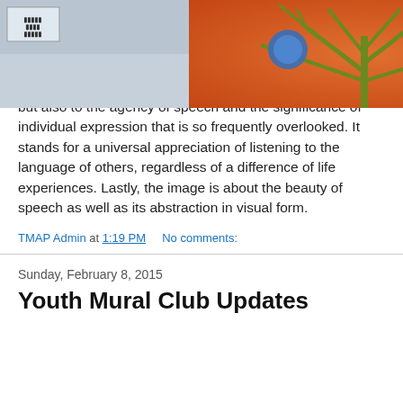The mural image depicts a sleeping person, and is designed to fit in the context of the shelter and services Central City Assembly provides. I attribute the significance and meaning of the bubble both to a dream-like expression but also to the agency of speech and the significance of individual expression that is so frequently overlooked. It stands for a universal appreciation of listening to the language of others, regardless of a difference of life experiences. Lastly, the image is about the beauty of speech as well as its abstraction in visual form.
TMAP Admin at 1:19 PM   No comments:
Sunday, February 8, 2015
Youth Mural Club Updates
[Figure (photo): Photograph of a colorful mural on a building exterior showing an orange and red tree design with blue circular element, flanked by a grey building section on the left and striped pillar on the right.]